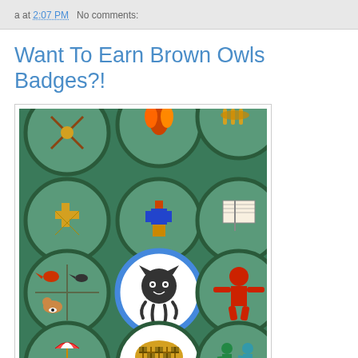a at 2:07 PM   No comments:
Want To Earn Brown Owls Badges?!
[Figure (photo): A collection of embroidered merit badges on green fabric, including badges depicting various designs such as a cross, a figure, animals, a GitHub Octocat badge with blue border, a beach umbrella, a basket, and dancing figures.]